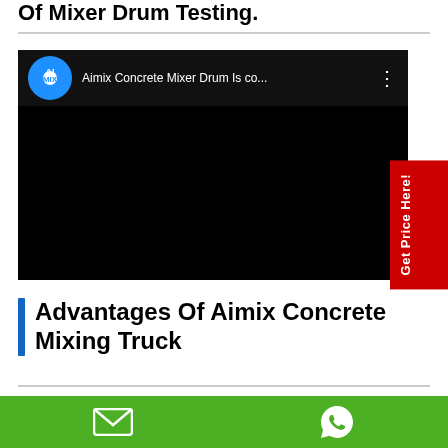Of Mixer Drum Testing.
[Figure (screenshot): YouTube-style video player showing Aimix Concrete Mixer Drum video with black thumbnail, Aimix logo, and title text 'Aimix Concrete Mixer Drum Is co...']
Advantages Of Aimix Concrete Mixing Truck
1. Long service life. The body of truck is
Email and WhatsApp contact icons on green bar